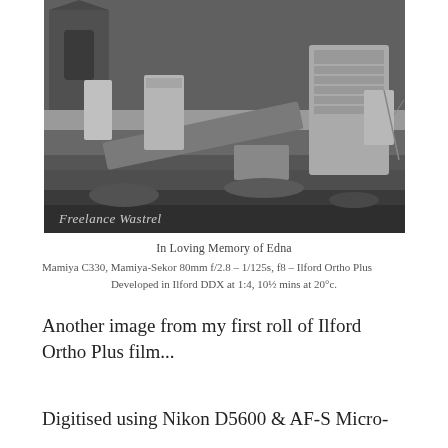[Figure (photo): Black and white photograph of a graveyard with fallen and upright stone grave markers, grass, and a gothic church or cathedral visible in the background. A watermark in italic script reads 'Freelance Wastrel' in the lower left corner.]
In Loving Memory of Edna
Mamiya C330, Mamiya-Sekor 80mm f/2.8 – 1/125s, f8 – Ilford Ortho Plus
Developed in Ilford DDX at 1:4, 10½ mins at 20°c.
Another image from my first roll of Ilford Ortho Plus film...
Digitised using Nikon D5600 & AF-S Micro-